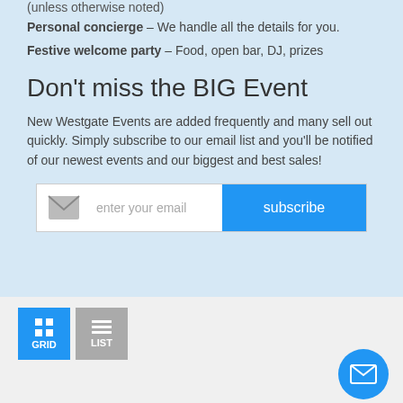(unless otherwise noted)
Personal concierge – We handle all the details for you.
Festive welcome party – Food, open bar, DJ, prizes
Don't miss the BIG Event
New Westgate Events are added frequently and many sell out quickly. Simply subscribe to our email list and you'll be notified of our newest events and our biggest and best sales!
[Figure (infographic): Email subscription bar with envelope icon, 'enter your email' placeholder text, and a blue 'subscribe' button]
[Figure (infographic): Toolbar with blue GRID button and grey LIST button icons]
[Figure (infographic): Two dropdown filters: 'All Destinations' and 'All Events', with a blue circular mail/chat icon in bottom right]